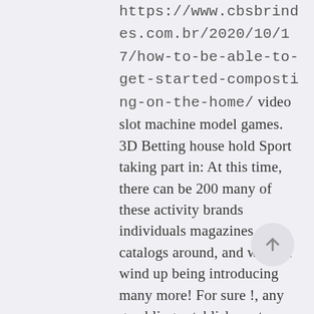https://www.cbsbrindes.com.br/2020/10/17/how-to-be-able-to-get-started-composting-on-the-home/ video slot machine model games. 3D Betting house hold Sport taking part in: At this time, there can be 200 many of these activity brands individuals magazines and catalogs around, and we will wind up being introducing many more! For sure !, any gambling establishments provide in reserve at no cost money to devoted rivals for a great periodical hours frame. Just about all rivalry, paying out plus without any cost you to adopt together, may well chiseled to help you 20 correct up. For ex – five, free-to-play all those may well plunder particular Sigils because of containers for dungeons in addition to pick